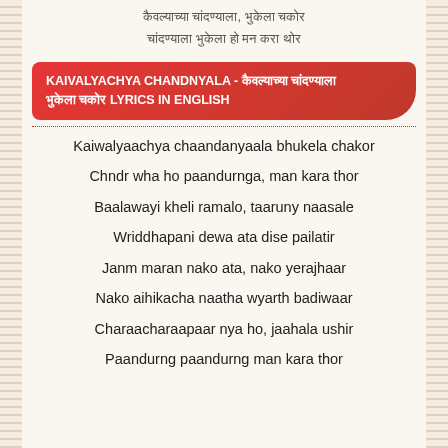कैवल्याच्या चांदण्याला भुकेला चकोर
चंद्र व्हा हो पांडुरंगा, मन करा थोर
KAIVALYACHYA CHANDNYALA - कैवल्याच्या चांदण्याला भुकेला चकोर LYRICS IN ENGLISH
Kaiwalyaachya chaandanyaala bhukela chakor
Chndr wha ho paandurnga, man kara thor
Baalawayi kheli ramalo, taaruny naasale
Wriddhapani dewa ata dise pailatir
Janm maran nako ata, nako yerajhaar
Nako aihikacha naatha wyarth badiwaar
Charaacharaapaar nya ho, jaahala ushir
Paandurng paandurng man kara thor